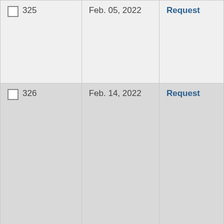| ID | Date | Action |
| --- | --- | --- |
| □ 325 | Feb. 05, 2022 | Request |
| □ 326 | Feb. 14, 2022 | Request |